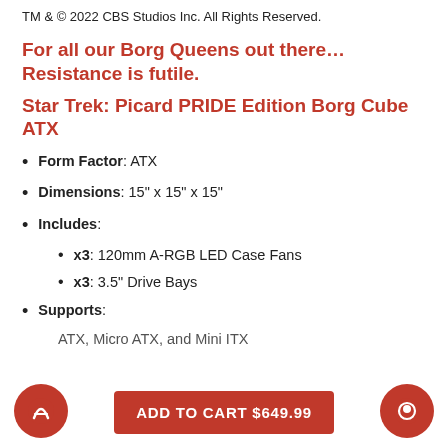TM & © 2022 CBS Studios Inc. All Rights Reserved.
For all our Borg Queens out there… Resistance is futile.
Star Trek: Picard PRIDE Edition Borg Cube ATX
Form Factor: ATX
Dimensions: 15" x 15" x 15"
Includes: x3: 120mm A-RGB LED Case Fans; x3: 3.5" Drive Bays
Supports: ATX, Micro ATX, and Mini ITX
ADD TO CART $649.99